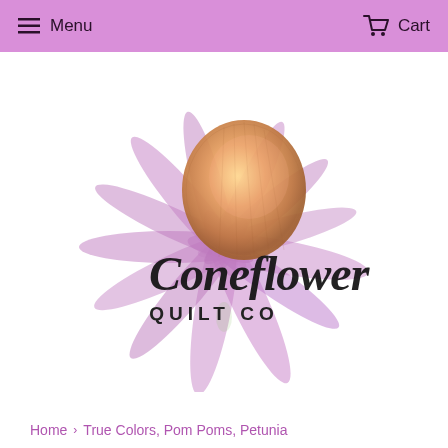Menu   Cart
[Figure (logo): Coneflower Quilt Co logo — watercolor pink/purple echinacea flower with 'Coneflower' in cursive script and 'QUILT CO' in small caps below, on white background]
Home › True Colors, Pom Poms, Petunia